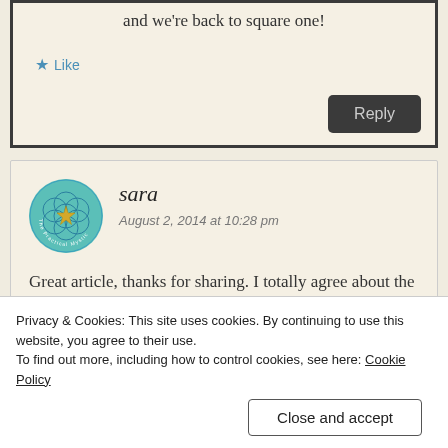and we're back to square one!
★ Like
Reply
[Figure (illustration): Avatar image for commenter sara - circular logo for The Practical Mystic with geometric flower pattern]
sara
August 2, 2014 at 10:28 pm
Great article, thanks for sharing. I totally agree about the twitter comment – and it goes for all social media, in in my opinion –
Privacy & Cookies: This site uses cookies. By continuing to use this website, you agree to their use.
To find out more, including how to control cookies, see here: Cookie Policy
Close and accept